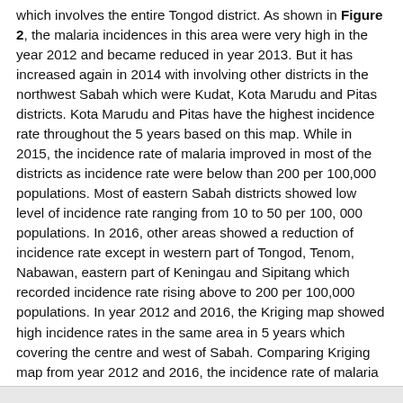which involves the entire Tongod district. As shown in Figure 2, the malaria incidences in this area were very high in the year 2012 and became reduced in year 2013. But it has increased again in 2014 with involving other districts in the northwest Sabah which were Kudat, Kota Marudu and Pitas districts. Kota Marudu and Pitas have the highest incidence rate throughout the 5 years based on this map. While in 2015, the incidence rate of malaria improved in most of the districts as incidence rate were below than 200 per 100,000 populations. Most of eastern Sabah districts showed low level of incidence rate ranging from 10 to 50 per 100, 000 populations. In 2016, other areas showed a reduction of incidence rate except in western part of Tongod, Tenom, Nabawan, eastern part of Keningau and Sipitang which recorded incidence rate rising above to 200 per 100,000 populations. In year 2012 and 2016, the Kriging map showed high incidence rates in the same area in 5 years which covering the centre and west of Sabah. Comparing Kriging map from year 2012 and 2016, the incidence rate of malaria has been reduced as more districts have lower incidence rate.